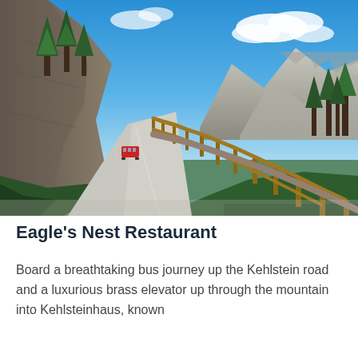[Figure (photo): A winding mountain road with a wooden guardrail on the right side, a red bus visible in the distance on the left, tall pine trees, rocky limestone mountain peaks under a bright blue sky with clouds. The road curves through a dramatic alpine landscape.]
Eagle's Nest Restaurant
Board a breathtaking bus journey up the Kehlstein road and a luxurious brass elevator up through the mountain into Kehlsteinhaus, known